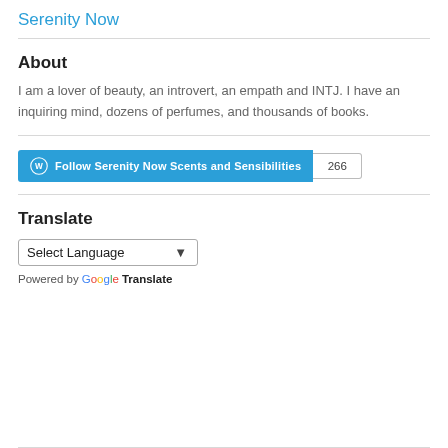Serenity Now
About
I am a lover of beauty, an introvert, an empath and INTJ. I have an inquiring mind, dozens of perfumes, and thousands of books.
[Figure (other): WordPress Follow button for 'Follow Serenity Now Scents and Sensibilities' with follower count badge showing 266]
Translate
Select Language dropdown and Powered by Google Translate